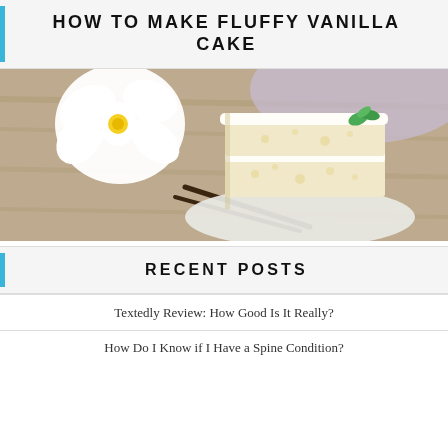HOW TO MAKE FLUFFY VANILLA CAKE
[Figure (photo): A slice of fluffy white vanilla layer cake with cream frosting and a green mint garnish on a white plate, with a white orchid flower and vanilla bean pods on a wooden surface in the background.]
RECENT POSTS
Textedly Review: How Good Is It Really?
How Do I Know if I Have a Spine Condition?